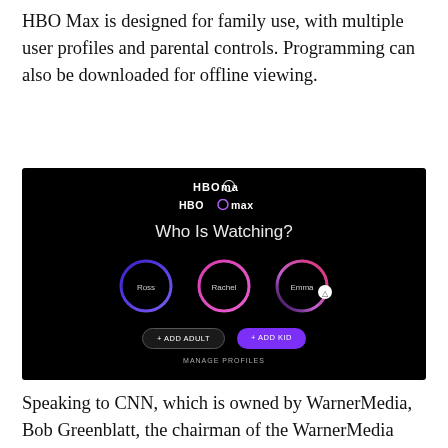HBO Max is designed for family use, with multiple user profiles and parental controls. Programming can also be downloaded for offline viewing.
[Figure (screenshot): HBO Max 'Who Is Watching?' profile selection screen showing three user profiles (Ross, Rachel, Emma) with circular avatar rings in blue and pink gradients, plus '+ ADD ADULT' and '+ ADD KID' buttons and a 'MANAGE PROFILES' link.]
Speaking to CNN, which is owned by WarnerMedia, Bob Greenblatt, the chairman of the WarnerMedia entertainment and direct-to-consumer division, said that HBO Max differed from